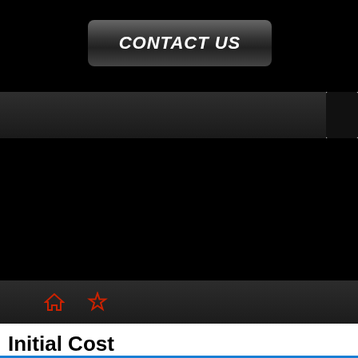CONTACT US
[Figure (screenshot): Website navigation bar with black background, Contact Us button, dark gray sub-navigation bar, large black banner area, and bottom nav strip with red home and star icons]
Initial Cost
| Image | Product Description |
| --- | --- |
|  | Billiardoo Software - Server License
The Server License consist of One Server License + One Client License. This is your complete software solution for your club. This is first time cost which covers the 1st year, annual license fee is applicable to run the software. |
|  |  |